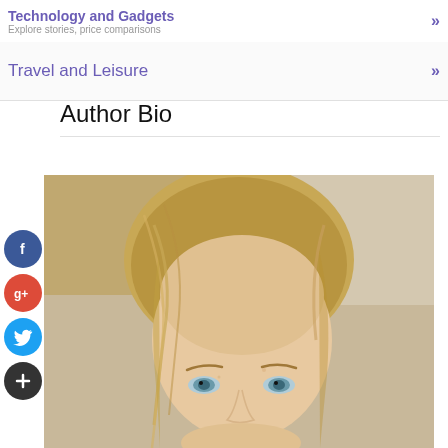Technology and Gadgets »
Travel and Leisure »
Author Bio
[Figure (photo): Headshot photo of a woman with blonde hair and blue eyes, against a blurred indoor background.]